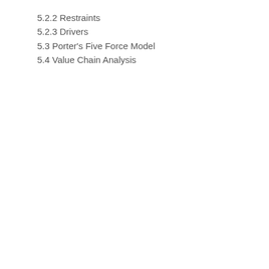5.2.2 Restraints
5.2.3 Drivers
5.3 Porter's Five Force Model
5.4 Value Chain Analysis